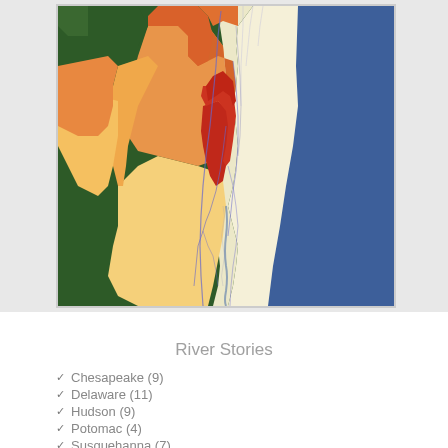[Figure (map): A watershed map of the mid-Atlantic region of the eastern United States showing river basins (Chesapeake, Delaware, Hudson, Potomac, Susquehanna) colored in various shades of red, orange, and yellow on a satellite/dark green background, with the Atlantic Ocean in dark blue to the right.]
River Stories
Chesapeake  (9)
Delaware  (11)
Hudson  (9)
Potomac  (4)
Susquehanna  (7)